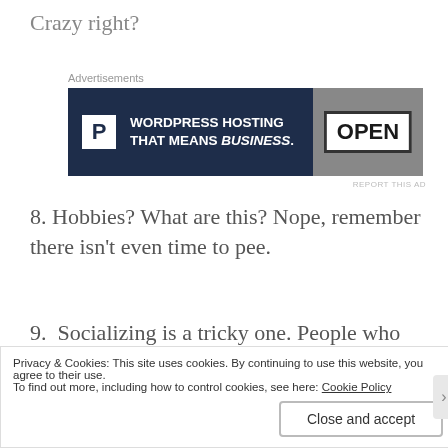Crazy right?
[Figure (other): Advertisement banner for WordPress Hosting: 'WORDPRESS HOSTING THAT MEANS BUSINESS.' with a P logo on the left and an OPEN sign photo on the right]
8. Hobbies? What are this? Nope, remember there isn't even time to pee.
9.  Socializing is a tricky one. People who already have kids and babies will already be ridiculously busy and the ones who don't probably won't want to hear constant baby talk. However mother and baby groups are amazing,
Privacy & Cookies: This site uses cookies. By continuing to use this website, you agree to their use.
To find out more, including how to control cookies, see here: Cookie Policy
Close and accept